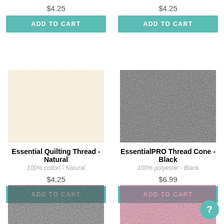$4.25
ADD TO CART
$4.25
ADD TO CART
[Figure (photo): Close-up of natural/cream colored quilting thread cone]
[Figure (photo): Close-up of black thread cone]
Essential Quilting Thread - Natural
100% cotton - Natural
$4.25
ADD TO CART
EssentialPRO Thread Cone - Black
100% polyester - Black
$6.99
ADD TO CART
[Figure (photo): Close-up of dark/black thread]
[Figure (photo): Close-up of maroon/dark red thread]